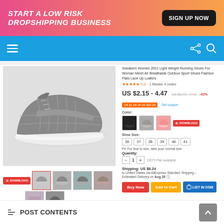[Figure (infographic): Banner advertisement: START A LOW RISK DROPSHIPPING BUSINESS with SIGN UP NOW button, gradient pink to orange background]
[Figure (screenshot): Blue navigation bar with hamburger menu on left and share/search icons on right]
[Figure (photo): Gray knit sneaker/running shoe product image with white sole]
Sneakers Women 2021 Light Weight Running Shoes For Woman Mesh Air Breathable Outdoor Sport Shoes Fashion Flats Lace Up Loafers
★★★★★ 5.0 · 1 Review 4 orders
US $2.15 - 4.47  US $3.70 - 7.78  -42%
US $1.08 off US $20.00  Get coupon
Color:
Shoe Size: 36  37  38  39  40  41
Fit: For true to size, take your normal size
Quantity: 1   10073 Pair available
Shipping: US $8.24
to United States via AliExpress Standard Shipping –
Estimated Delivery on Aug 28
Avoid dropshipping shoes due to the high chance of returns
POST CONTENTS